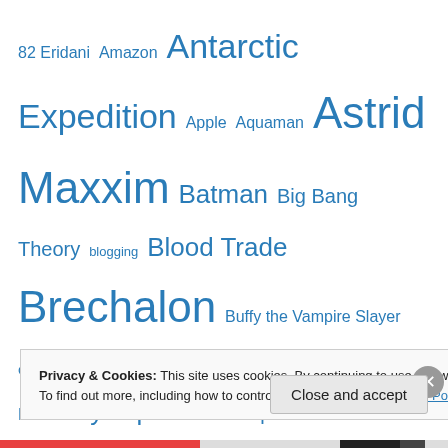82 Eridani Amazon Antarctic Expedition Apple Aquaman Astrid Maxxim Batman Big Bang Theory blogging Blood Trade Brechalon Buffy the Vampire Slayer Comicon computer cover Eaglethorpe Buxton Elf Encyclopedia Excerpt Facebook Favorite Bits Game of Thrones Guardians of the Galaxy her Amazing Hoverbike Her Hypersonic Space Plane Her Undersea Dome His His Robot Wife His Robot...
Privacy & Cookies: This site uses cookies. By continuing to use this website, you agree to their use.
To find out more, including how to control cookies, see here: Cookie Policy